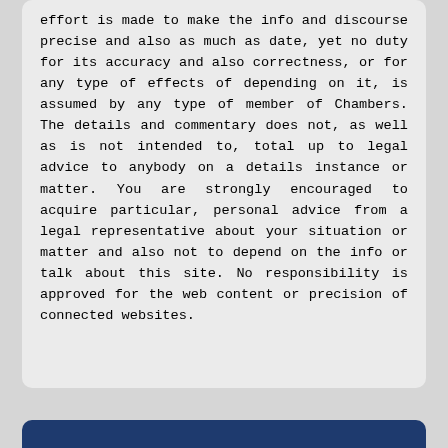effort is made to make the info and discourse precise and also as much as date, yet no duty for its accuracy and also correctness, or for any type of effects of depending on it, is assumed by any type of member of Chambers. The details and commentary does not, as well as is not intended to, total up to legal advice to anybody on a details instance or matter. You are strongly encouraged to acquire particular, personal advice from a legal representative about your situation or matter and also not to depend on the info or talk about this site. No responsibility is approved for the web content or precision of connected websites.